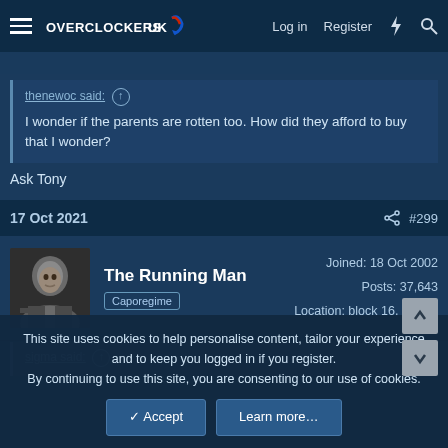Overclockers UK — Log in  Register
thenewoc said: ↑
I wonder if the parents are rotten too. How did they afford to buy that I wonder?
Ask Tony
17 Oct 2021  #299
The Running Man
Caporegime
Joined: 18 Oct 2002
Posts: 37,643
Location: block 16, cell 12
sigma said: ↑
This site uses cookies to help personalise content, tailor your experience and to keep you logged in if you register.
By continuing to use this site, you are consenting to our use of cookies.